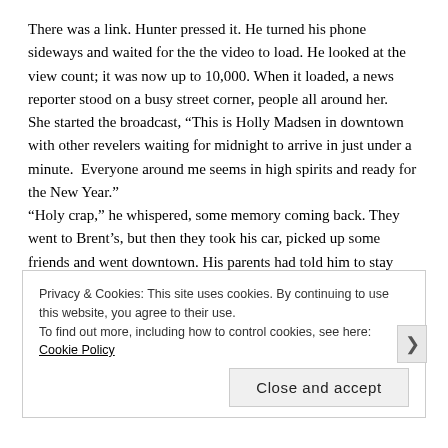There was a link.  Hunter pressed it.  He turned his phone sideways and waited for the the video to load.  He looked at the view count; it was now up to 10,000.  When it loaded, a news reporter stood on a busy street corner, people all around her.
She started the broadcast, “This is Holly Madsen in downtown with other revelers waiting for midnight to arrive in just under a minute.  Everyone around me seems in high spirits and ready for the New Year.”
“Holy crap,” he whispered, some memory coming back.  They went to Brent’s, but then they took his car, picked up some friends and went downtown.  His parents had told him to stay away from down town.  Brent took some booze from his parents house and they partook to celebrate the New Year.
Privacy & Cookies: This site uses cookies. By continuing to use this website, you agree to their use.
To find out more, including how to control cookies, see here: Cookie Policy
Close and accept